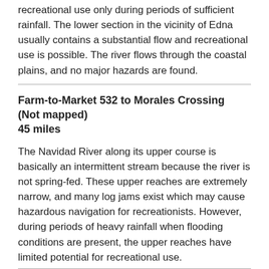recreational use only during periods of sufficient rainfall. The lower section in the vicinity of Edna usually contains a substantial flow and recreational use is possible. The river flows through the coastal plains, and no major hazards are found.
Farm-to-Market 532 to Morales Crossing (Not mapped)
45 miles
The Navidad River along its upper course is basically an intermittent stream because the river is not spring-fed. These upper reaches are extremely narrow, and many log jams exist which may cause hazardous navigation for recreationists. However, during periods of heavy rainfall when flooding conditions are present, the upper reaches have limited potential for recreational use.